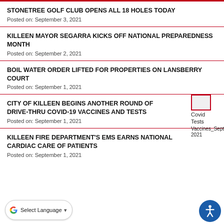STONETREE GOLF CLUB OPENS ALL 18 HOLES TODAY
Posted on: September 3, 2021
KILLEEN MAYOR SEGARRA KICKS OFF NATIONAL PREPAREDNESS MONTH
Posted on: September 2, 2021
BOIL WATER ORDER LIFTED FOR PROPERTIES ON LANSBERRY COURT
Posted on: September 1, 2021
CITY OF KILLEEN BEGINS ANOTHER ROUND OF DRIVE-THRU COVID-19 VACCINES AND TESTS
Posted on: September 1, 2021
KILLEEN FIRE DEPARTMENT'S EMS EARNS NATIONAL CARDIAC CARE OF PATIENTS
Posted on: September 1, 2021